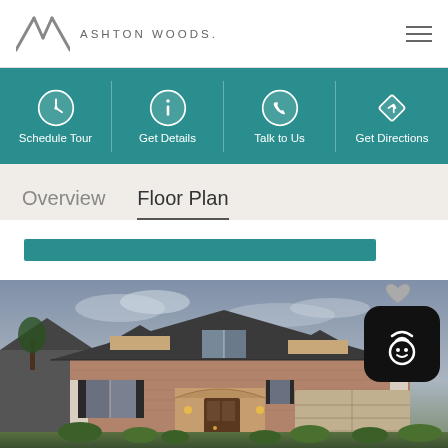[Figure (logo): Ashton Woods logo with AW monogram and text]
Ashton Woods
Schedule Tour
Get Details
Talk to Us
Get Directions
Overview
Floor Plan
[Figure (photo): Exterior photo of a brick single-story home with a dark roof, attached garage, arched front porch, and landscaping at dusk]
[Figure (other): Smart home widget icon with wifi and face symbol, shown as a black rounded square with a heart icon above it]